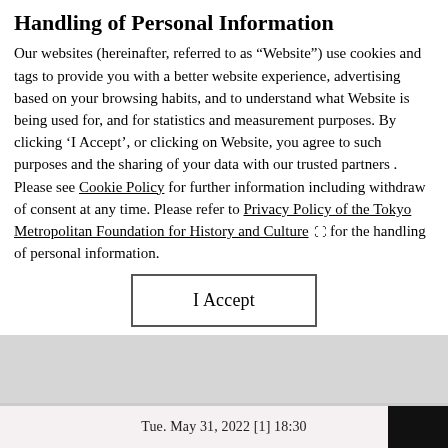Handling of Personal Information
Our websites (hereinafter, referred to as “Website”) use cookies and tags to provide you with a better website experience, advertising based on your browsing habits, and to understand what Website is being used for, and for statistics and measurement purposes. By clicking ‘I Accept’, or clicking on Website, you agree to such purposes and the sharing of your data with our trusted partners . Please see Cookie Policy for further information including withdraw of consent at any time. Please refer to Privacy Policy of the Tokyo Metropolitan Foundation for History and Culture for the handling of personal information.
I Accept
Tue. May 31, 2022 [1] 18:30